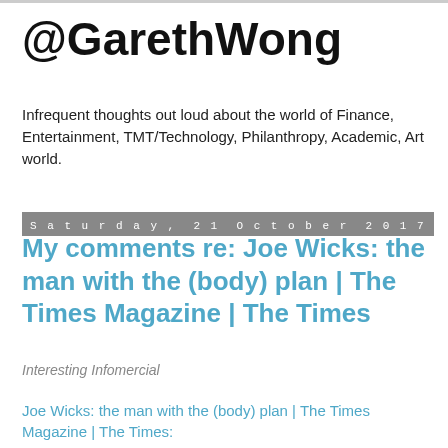@GarethWong
Infrequent thoughts out loud about the world of Finance, Entertainment, TMT/Technology, Philanthropy, Academic, Art world.
Saturday, 21 October 2017
My comments re: Joe Wicks: the man with the (body) plan | The Times Magazine | The Times
Interesting Infomercial
Joe Wicks: the man with the (body) plan | The Times Magazine | The Times: